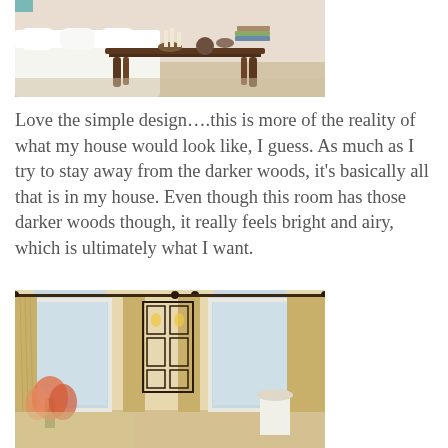[Figure (photo): Interior living room photo showing a white slipcovered sofa and a dark wood coffee table with decorative objects including candles and books on a light rug]
Love the simple design….this is more of the reality of what my house would look like, I guess. As much as I try to stay away from the darker woods, it’s basically all that is in my house. Even though this room has those darker woods though, it really feels bright and airy, which is ultimately what I want.
[Figure (photo): Interior living room photo showing arched windows with beige/gold drape curtains on dark rods, a wrought-iron decorative wall panel with candles, and floral arrangements in a warm neutral room]